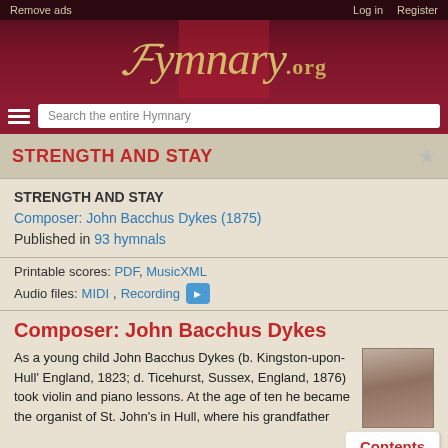Remove ads | Log in | Register
[Figure (logo): Hymnary.org website logo in gold italic script on dark red background]
STRENGTH AND STAY
STRENGTH AND STAY
Composer: John Bacchus Dykes (1875)
Published in 93 hymnals
Printable scores: PDF, MusicXML
Audio files: MIDI, Recording
Composer: John Bacchus Dykes
As a young child John Bacchus Dykes (b. Kingston-upon-Hull' England, 1823; d. Ticehurst, Sussex, England, 1876) took violin and piano lessons. At the age of ten he became the organist of St. John's in Hull, where his grandfather
[Figure (photo): Portrait photo of John Bacchus Dykes]
Contents